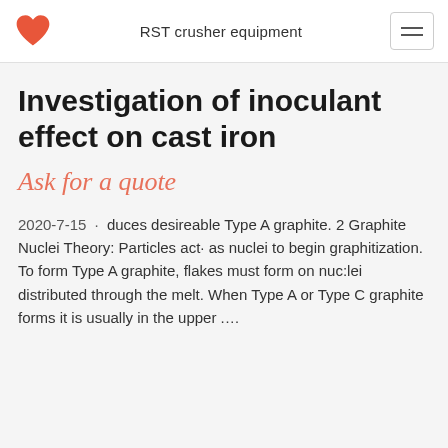RST crusher equipment
Investigation of inoculant effect on cast iron
Ask for a quote
2020-7-15 · duces desireable Type A graphite. 2 Graphite Nuclei Theory: Particles act· as nuclei to begin graphitization. To form Type A graphite, flakes must form on nuc:lei distributed through the melt. When Type A or Type C graphite forms it is usually in the upper ….